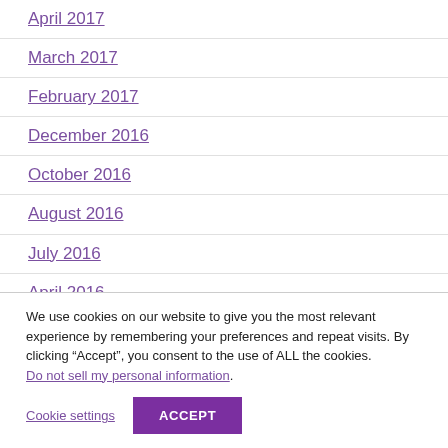April 2017
March 2017
February 2017
December 2016
October 2016
August 2016
July 2016
April 2016
We use cookies on our website to give you the most relevant experience by remembering your preferences and repeat visits. By clicking “Accept”, you consent to the use of ALL the cookies. Do not sell my personal information.
Cookie settings  ACCEPT